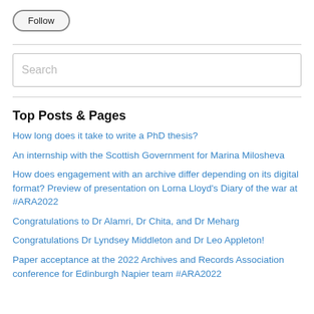Follow
Search
Top Posts & Pages
How long does it take to write a PhD thesis?
An internship with the Scottish Government for Marina Milosheva
How does engagement with an archive differ depending on its digital format? Preview of presentation on Lorna Lloyd's Diary of the war at #ARA2022
Congratulations to Dr Alamri, Dr Chita, and Dr Meharg
Congratulations Dr Lyndsey Middleton and Dr Leo Appleton!
Paper acceptance at the 2022 Archives and Records Association conference for Edinburgh Napier team #ARA2022